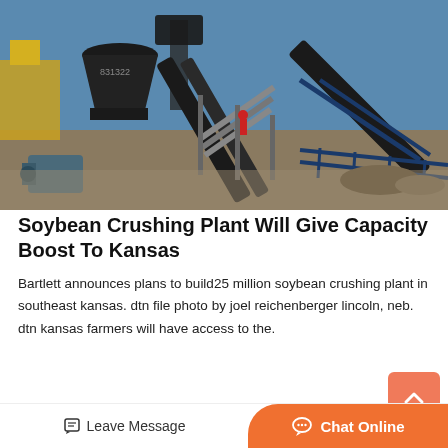[Figure (photo): Outdoor industrial mining/crushing plant equipment with conveyor belts, cone crusher, motor, and metal walkways/platforms under a blue sky]
Soybean Crushing Plant Will Give Capacity Boost To Kansas
Bartlett announces plans to build25 million soybean crushing plant in southeast kansas. dtn file photo by joel reichenberger lincoln, neb. dtn kansas farmers will have access to the.
Get Price >